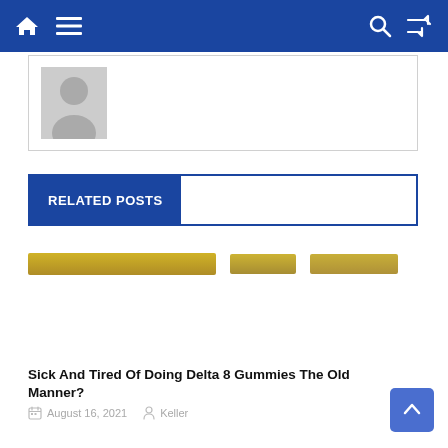Navigation bar with home, menu, search, and shuffle icons
[Figure (photo): User avatar placeholder showing a generic person silhouette on a gray background inside a white card with border]
RELATED POSTS
[Figure (photo): Thumbnail images strip showing partial/blurred images with golden/yellow tones]
Sick And Tired Of Doing Delta 8 Gummies The Old Manner?
August 16, 2021   Keller